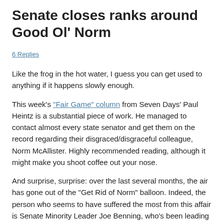Senate closes ranks around Good Ol' Norm
6 Replies
Like the frog in the hot water, I guess you can get used to anything if it happens slowly enough.
This week's “Fair Game” column from Seven Days’ Paul Heintz is a substantial piece of work. He managed to contact almost every state senator and get them on the record regarding their disgraced/disgraceful colleague, Norm McAllister. Highly recommended reading, although it might make you shoot coffee out your nose.
And surprise, surprise: over the last several months, the air has gone out of the “Get Rid of Norm” balloon. Indeed, the person who seems to have suffered the most from this affair is Senate Minority Leader Joe Benning, who’s been leading